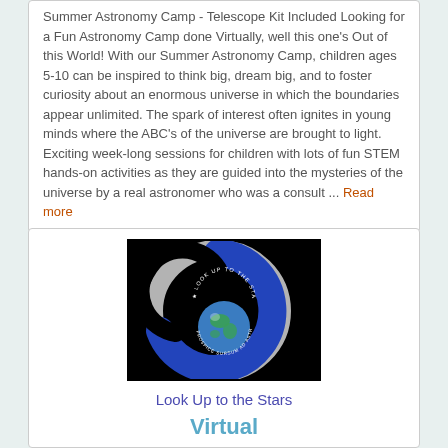Summer Astronomy Camp - Telescope Kit Included Looking for a Fun Astronomy Camp done Virtually, well this one's Out of this World! With our Summer Astronomy Camp, children ages 5-10 can be inspired to think big, dream big, and to foster curiosity about an enormous universe in which the boundaries appear unlimited. The spark of interest often ignites in young minds where the ABC's of the universe are brought to light. Exciting week-long sessions for children with lots of fun STEM hands-on activities as they are guided into the mysteries of the universe by a real astronomer who was a consult ... Read more
[Figure (logo): Look Up to the Stars logo — a blue crescent/comet arc around a globe of Earth, on a black background, with circular text reading 'LOOK UP TO THE STARS' and 'PROSPICE SURSUM AD ASTRA']
Look Up to the Stars
Virtual